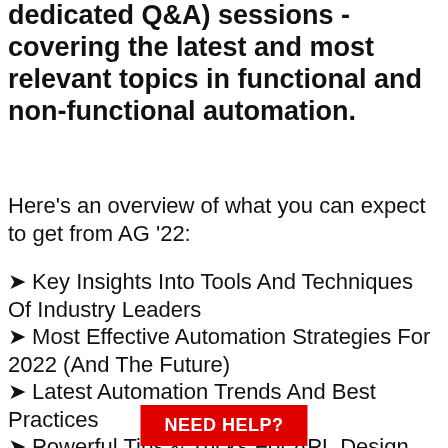dedicated Q&A) sessions - covering the latest and most relevant topics in functional and non-functional automation.
Here's an overview of what you can expect to get from AG '22:
➤ Key Insights Into Tools And Techniques Of Industry Leaders
➤ Most Effective Automation Strategies For 2022 (And The Future)
➤ Latest Automation Trends And Best Practices
➤ Powerful Tips & Tricks For API, Design Patterns, And Accessibility Testing
➤ The A-Z Of Automation Frameworks (Appium, Cypress, Etc.)
NEED HELP?